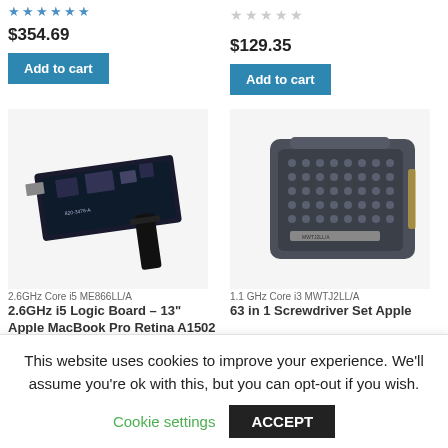[Figure (photo): Star rating row (empty stars) for first product]
$354.69
Add to cart
[Figure (photo): Star rating row (empty stars) for second product]
$129.35
Add to cart
[Figure (photo): Photo of a MacBook Pro logic board (circuit board with connector cable)]
[Figure (photo): Photo of a screwdriver set tool block]
2.6GHz Core i5 ME866LL/A
2.6GHz i5 Logic Board – 13" Apple MacBook Pro Retina A1502 late 2013 820-3476-A
1.1 GHz Core i3 MWTJ2LL/A
63 in 1 Screwdriver Set Apple
This website uses cookies to improve your experience. We'll assume you're ok with this, but you can opt-out if you wish.
Cookie settings
ACCEPT